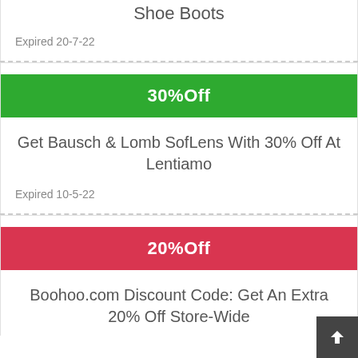Shoe Boots
Expired 20-7-22
[Figure (other): Green discount badge showing 30%Off]
Get Bausch & Lomb SofLens With 30% Off At Lentiamo
Expired 10-5-22
[Figure (other): Red discount badge showing 20%Off]
Boohoo.com Discount Code: Get An Extra 20% Off Store-Wide